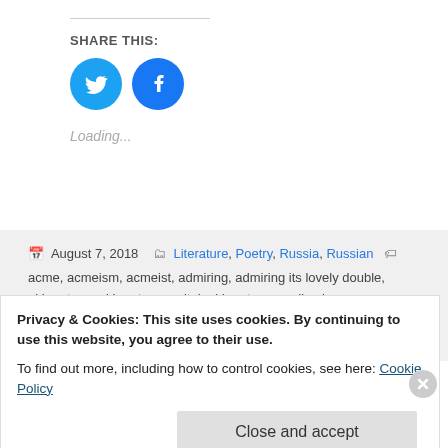SHARE THIS:
[Figure (illustration): Twitter and Facebook social sharing icons (blue circles with white logos)]
Loading...
August 7, 2018  Literature, Poetry, Russia, Russian  acme, acmeism, acmeist, admiring, admiring its lovely double, akhmatova, akhmatova recital, akhmatove reading her own poem, akhmatove reciting her poem, alexander blok, alexandr blok, anna adreyevna akhmatova, anna akhmatova, Anna Andreyevna, anna
Privacy & Cookies: This site uses cookies. By continuing to use this website, you agree to their use.
To find out more, including how to control cookies, see here: Cookie Policy
Close and accept